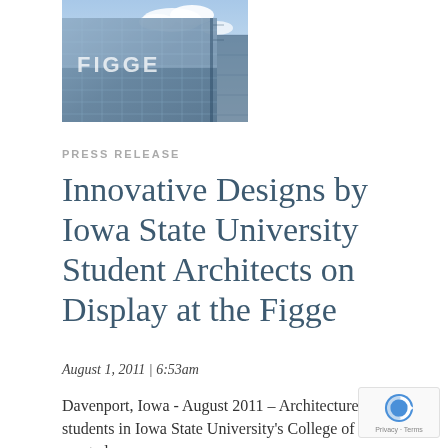[Figure (photo): Exterior photo of the Figge Art Museum building showing glass facade with FIGGE lettering, blue sky and clouds reflected]
PRESS RELEASE
Innovative Designs by Iowa State University Student Architects on Display at the Figge
August 1, 2011 | 6:53am
Davenport, Iowa - August 2011 – Architecture students in Iowa State University's College of Design created